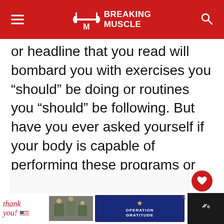BREAKING MUSCLE
or headline that you read will bombard you with exercises you “should” be doing or routines you “should” be following. But have you ever asked yourself if your body is capable of performing these programs or exercises?
[Figure (other): Advertisement placeholder with three dots and label ADVERTISEMENT, with a red heart button and a share button on the right side]
Thank you! OPERATION GRATITUDE advertisement banner